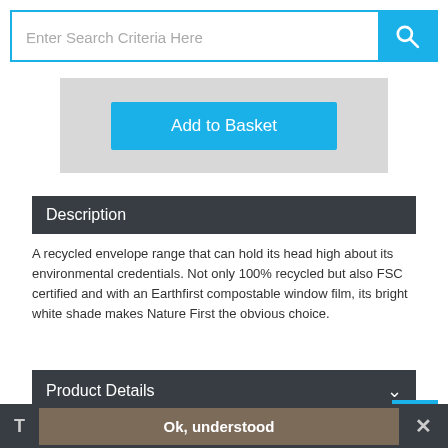Enter Search Criteria Here
Add to Basket
Description
A recycled envelope range that can hold its head high about its environmental credentials. Not only 100% recycled but also FSC certified and with an Earthfirst compostable window film, its bright white shade makes Nature First the obvious choice.
Product Details
People who bought this also bought
Ok, understood